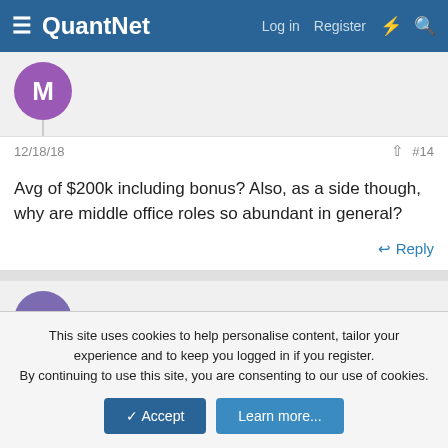QuantNet — Log in  Register
12/18/18    #14
Avg of $200k including bonus? Also, as a side though, why are middle office roles so abundant in general?
Reply
jah.david.kim
12/18/18    #15
This site uses cookies to help personalise content, tailor your experience and to keep you logged in if you register.
By continuing to use this site, you are consenting to our use of cookies.